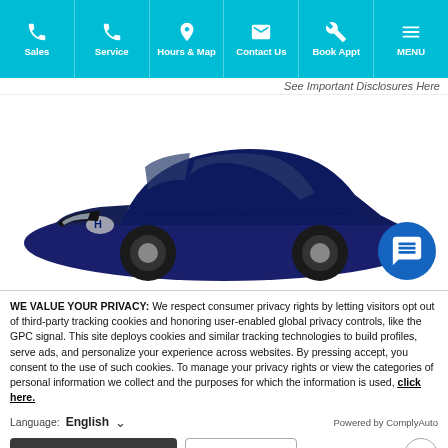[Figure (screenshot): Navigation bar with teal/cyan background showing Sales, Service, Hours & Map, Contact Us, Book Appt, and MENU icons with labels]
See Important Disclosures Here
[Figure (photo): Blue Hyundai sedan (Elantra) shown from front three-quarter view against white background, with a circular blue chat button overlay in lower right]
WE VALUE YOUR PRIVACY: We respect consumer privacy rights by letting visitors opt out of third-party tracking cookies and honoring user-enabled global privacy controls, like the GPC signal. This site deploys cookies and similar tracking technologies to build profiles, serve ads, and personalize your experience across websites. By pressing accept, you consent to the use of such cookies. To manage your privacy rights or view the categories of personal information we collect and the purposes for which the information is used, click here.
Language:  English  ∨    Powered by ComplyAuto
Accept and Continue →   Privacy Policy   ×